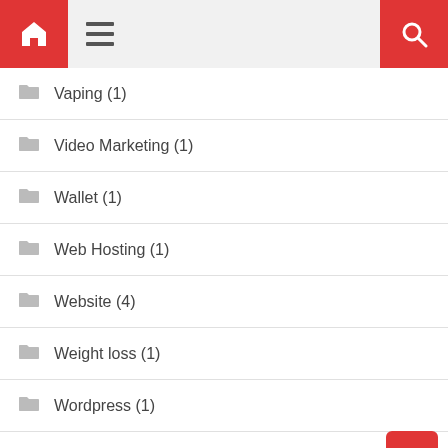Navigation bar with home and search icons
Vaping (1)
Video Marketing (1)
Wallet (1)
Web Hosting (1)
Website (4)
Weight loss (1)
Wordpress (1)
Workout (1)
Workshop (1)
Writing and Speaking (1)